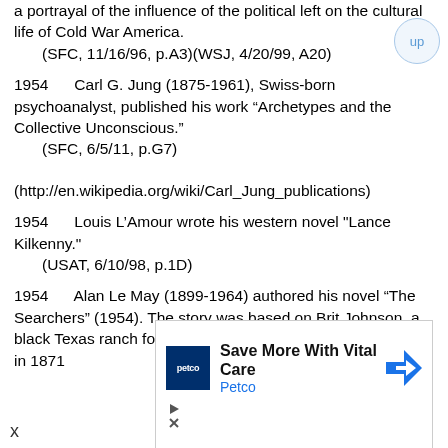a portrayal of the influence of the political left on the cultural life of Cold War America.
    (SFC, 11/16/96, p.A3)(WSJ, 4/20/99, A20)
1954      Carl G. Jung (1875-1961), Swiss-born psychoanalyst, published his work “Archetypes and the Collective Unconscious.”
    (SFC, 6/5/11, p.G7)
(http://en.wikipedia.org/wiki/Carl_Jung_publications)
1954      Louis L’Amour wrote his western novel "Lance Kilkenny."
    (USAT, 6/10/98, p.1D)
1954      Alan Le May (1899-1964) authored his novel “The Searchers” (1954). The story was based on Brit Johnson, a black Texas ranch foreman, who was killed by Kiowa raiders in 1871
[Figure (other): Petco advertisement: Save More With Vital Care. Petco logo shown. Navigation arrow icon. Ad controls with play and close icons.]